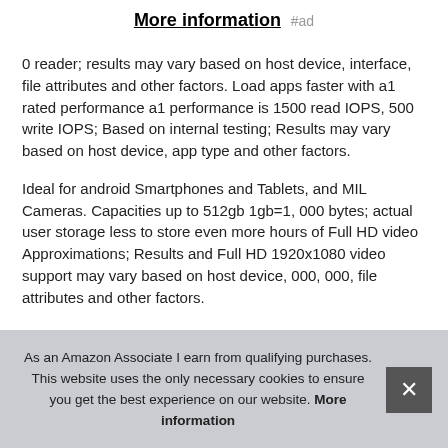More information #ad
0 reader; results may vary based on host device, interface, file attributes and other factors. Load apps faster with a1 rated performance a1 performance is 1500 read IOPS, 500 write IOPS; Based on internal testing; Results may vary based on host device, app type and other factors.
Ideal for android Smartphones and Tablets, and MIL Cameras. Capacities up to 512gb 1gb=1, 000 bytes; actual user storage less to store even more hours of Full HD video Approximations; Results and Full HD 1920x1080 video support may vary based on host device, 000, 000, file attributes and other factors.
As an Amazon Associate I earn from qualifying purchases. This website uses the only necessary cookies to ensure you get the best experience on our website. More information